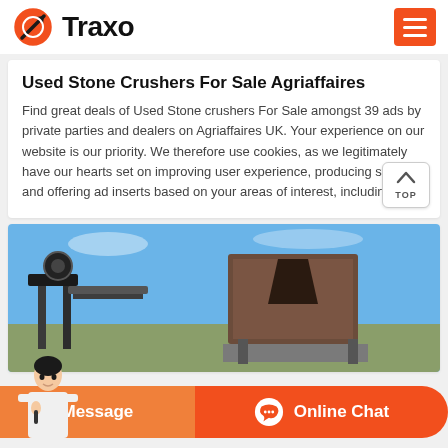Traxo
Used Stone Crushers For Sale Agriaffaires
Find great deals of Used Stone crushers For Sale amongst 39 ads by private parties and dealers on Agriaffaires UK. Your experience on our website is our priority. We therefore use cookies, as we legitimately have our hearts set on improving user experience, producing statistics and offering ad inserts based on your areas of interest, including ...
[Figure (photo): Photo of used stone crushers/industrial machinery outdoors against a blue sky]
Message
Online Chat